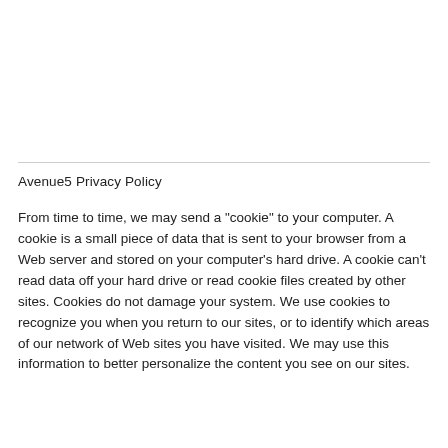Avenue5 Privacy Policy
From time to time, we may send a "cookie" to your computer. A cookie is a small piece of data that is sent to your browser from a Web server and stored on your computer's hard drive. A cookie can't read data off your hard drive or read cookie files created by other sites. Cookies do not damage your system. We use cookies to recognize you when you return to our sites, or to identify which areas of our network of Web sites you have visited. We may use this information to better personalize the content you see on our sites.